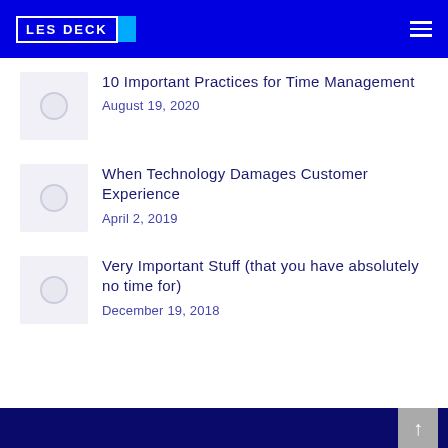LES DECK
10 Important Practices for Time Management
August 19, 2020
When Technology Damages Customer Experience
April 2, 2019
Very Important Stuff (that you have absolutely no time for)
December 19, 2018